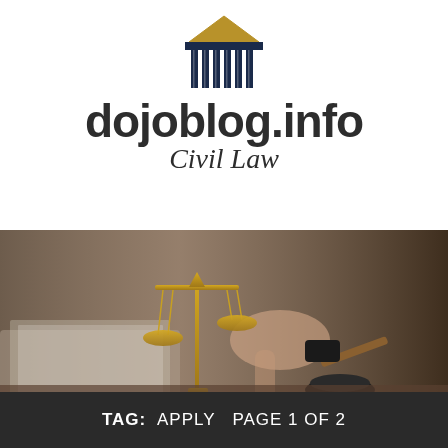[Figure (logo): Dojoblog.info Civil Law logo with stylized courthouse/columns icon in navy blue and gold above the site name]
dojoblog.info
Civil Law
[Figure (photo): Photo of golden scales of justice and a judge's gavel on a desk with a laptop and a person writing in the background]
TAG: APPLY PAGE 1 OF 2